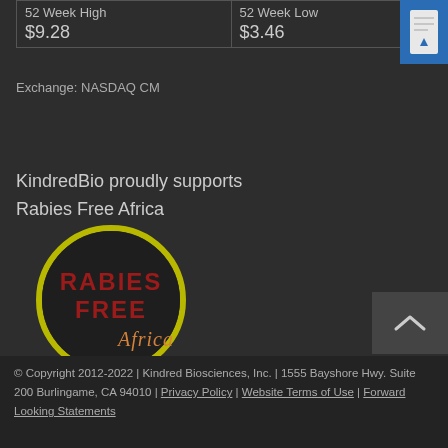| 52 Week High | 52 Week Low |
| --- | --- |
| $9.28 | $3.46 |
Exchange: NASDAQ CM
KindredBio proudly supports Rabies Free Africa
[Figure (logo): Rabies Free Africa circular logo with yellow-green circle outline, red bold text RABIES FREE and orange script text Africa on dark background]
© Copyright 2012-2022 | Kindred Biosciences, Inc. | 1555 Bayshore Hwy. Suite 200 Burlingame, CA 94010 | Privacy Policy | Website Terms of Use | Forward Looking Statements